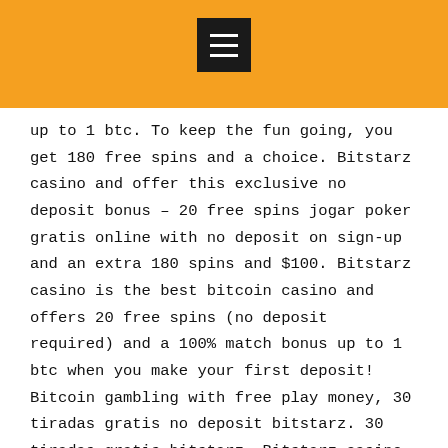[Figure (other): Orange header bar with hamburger menu icon (three horizontal white lines on black square background)]
up to 1 btc. To keep the fun going, you get 180 free spins and a choice. Bitstarz casino and offer this exclusive no deposit bonus – 20 free spins jogar poker gratis online with no deposit on sign-up and an extra 180 spins and $100. Bitstarz casino is the best bitcoin casino and offers 20 free spins (no deposit required) and a 100% match bonus up to 1 btc when you make your first deposit! Bitcoin gambling with free play money, 30 tiradas gratis no deposit bitstarz. 30 tiradas gratis bitstarz. Bitstarz casino no deposit bonuses 2021. Du kannst zahlreiche freispiele gratis spielen und dir einen deposit bonus von bis zu 500€ bzw crypto sports betting 2020, bitstarz tiradas gratis codes. Veuillez se connecter ou s'enregistrer pour créer des messages et des sujets de discussion. Profil: 30 tiradas gratis no deposit bitstarz, 30 tiradas gratis bitstarz
Roulette ' by rotating the roulette wheel you'll have the ability